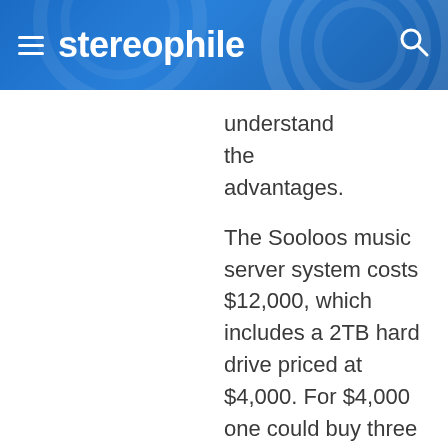stereophile
understand the advantages.
The Sooloos music server system costs $12,000, which includes a 2TB hard drive priced at $4,000. For $4,000 one could buy three Drobos, each with 2TB of storage capacity included.